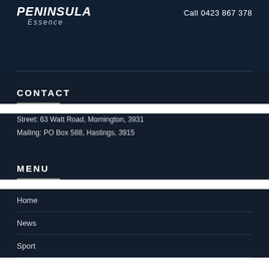PENINSULA Essence | Call 0423 867 378
CONTACT
Street: 63 Watt Road, Mornington, 3931
Mailing: PO Box 588, Hastings, 3915
MENU
Home
News
Sport